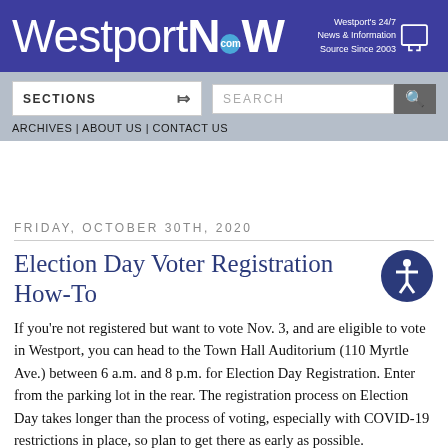WestportNOW.com — Westport's 24/7 News & Information Source Since 2003
SECTIONS | SEARCH | ARCHIVES | ABOUT US | CONTACT US
FRIDAY, OCTOBER 30TH, 2020
Election Day Voter Registration How-To
If you're not registered but want to vote Nov. 3, and are eligible to vote in Westport, you can head to the Town Hall Auditorium (110 Myrtle Ave.) between 6 a.m. and 8 p.m. for Election Day Registration. Enter from the parking lot in the rear. The registration process on Election Day takes longer than the process of voting, especially with COVID-19 restrictions in place, so plan to get there as early as possible.
You must appear in person (please wear a mask) and provide proof of your identity and residence. Proof can be a current